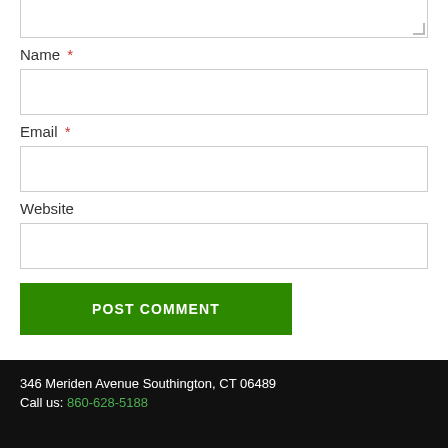[Figure (screenshot): Top portion of a textarea input field (bottom edge visible with resize handle)]
Name *
[Figure (screenshot): Name text input field, empty]
Email *
[Figure (screenshot): Email text input field, empty]
Website
[Figure (screenshot): Website text input field, empty]
[Figure (screenshot): POST COMMENT green submit button]
346 Meriden Avenue Southington, CT 06489
Call us: 860-628-5188